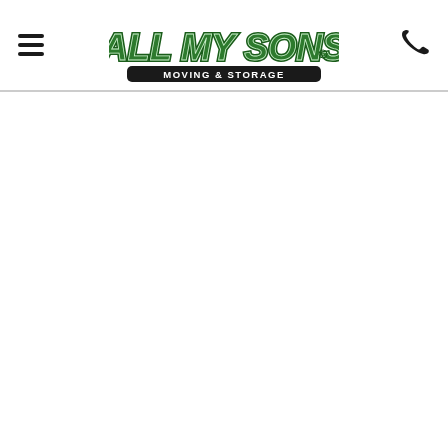[Figure (logo): All My Sons Moving & Storage logo with stylized green arched text 'ALL MY SONS' above a black rounded rectangle badge reading 'MOVING & STORAGE' in white text]
[Figure (other): Hamburger menu icon (three horizontal lines) on the left side of the header]
[Figure (other): Phone/telephone icon on the right side of the header]